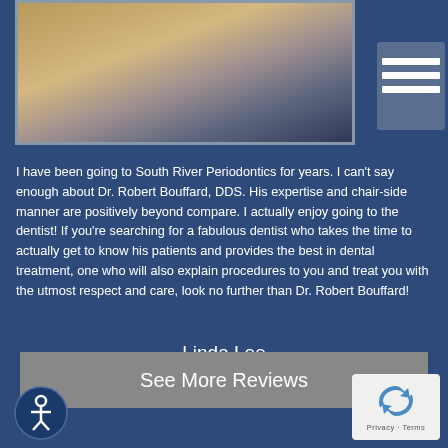[Figure (photo): Portrait photo of a woman with long blonde hair wearing a dark hat, partially visible at top of page]
I have been going to South River Periodontics for years. I can't say enough about Dr. Robert Bouffard, DDS. His expertise and chair-side manner are positively beyond compare. I actually enjoy going to the dentist! If you're searching for a fabulous dentist who takes the time to actually get to know his patients and provides the best in dental treatment, one who will also explain procedures to you and treat you with the utmost respect and care, look no further than Dr. Robert Bouffard!
Linda Lee
Annapolis, MD Dental Patient
See More Reviews